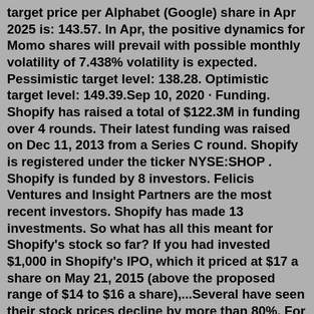target price per Alphabet (Google) share in Apr 2025 is: 143.57. In Apr, the positive dynamics for Momo shares will prevail with possible monthly volatility of 7.438% volatility is expected. Pessimistic target level: 138.28. Optimistic target level: 149.39.Sep 10, 2020 · Funding. Shopify has raised a total of $122.3M in funding over 4 rounds. Their latest funding was raised on Dec 11, 2013 from a Series C round. Shopify is registered under the ticker NYSE:SHOP . Shopify is funded by 8 investors. Felicis Ventures and Insight Partners are the most recent investors. Shopify has made 13 investments. So what has all this meant for Shopify's stock so far? If you had invested $1,000 in Shopify's IPO, which it priced at $17 a share on May 21, 2015 (above the proposed range of $14 to $16 a share),...Several have seen their stock prices decline by more than 80%. For Shopify specifically, the stock was hitting all-time highs in November and was then down 82% just six months later. In that ...Dec 26, 2019 · Shopify held its initial public offering in May 2015 that raised $131 million, with shares pricing at